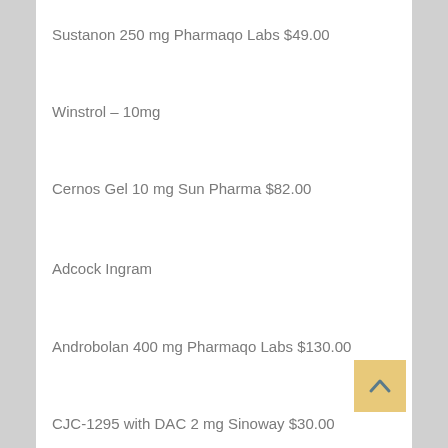Sustanon 250 mg Pharmaqo Labs $49.00
Winstrol – 10mg
Cernos Gel 10 mg Sun Pharma $82.00
Adcock Ingram
Androbolan 400 mg Pharmaqo Labs $130.00
CJC-1295 with DAC 2 mg Sinoway $30.00